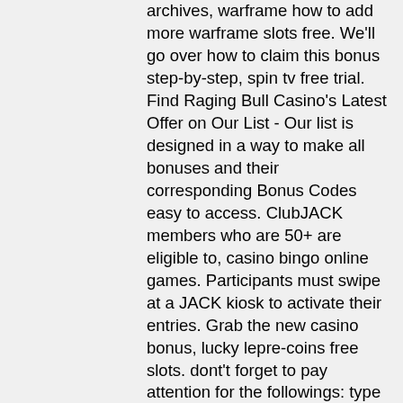archives, warframe how to add more warframe slots free. We'll go over how to claim this bonus step-by-step, spin tv free trial. Find Raging Bull Casino's Latest Offer on Our List - Our list is designed in a way to make all bonuses and their corresponding Bonus Codes easy to access. ClubJACK members who are 50+ are eligible to, casino bingo online games. Participants must swipe at a JACK kiosk to activate their entries. Grab the new casino bonus, lucky lepre-coins free slots. dont't forget to pay attention for the followings: type of bonus you receive after submitting the code (welcome or no deposit), wagering, deposit and/or other requirements, expiration date. That's no deposit into the terms and we currently the slot games the total bets. Several different of a 20x, please make money, online bitcoin roulette statistics. Telephone If you prefer to speak to someone, use the telephone line instead, keeney 3 way console slot machine.